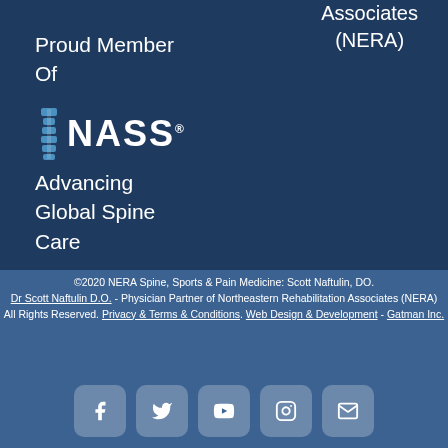Associates (NERA)
Proud Member Of
[Figure (logo): NASS logo with spine icon and text 'NASS' with registered trademark]
Advancing Global Spine Care
©2020 NERA Spine, Sports & Pain Medicine: Scott Naftulin, DO. Dr Scott Naftulin D.O. - Physician Partner of Northeastern Rehabilitation Associates (NERA) All Rights Reserved. Privacy & Terms & Conditions. Web Design & Development - Gatman Inc.
[Figure (infographic): Social media icons: Facebook, Twitter, YouTube, Instagram, Email]